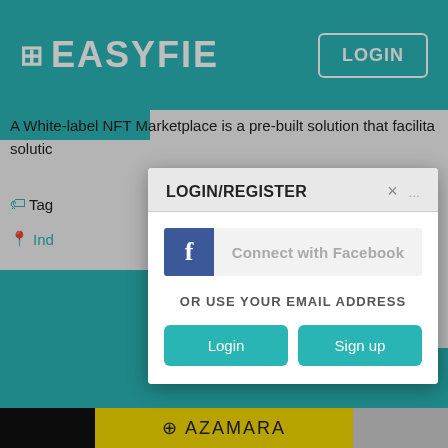EASYFIE | LOGIN
A White-label NFT Marketplace is a pre-built solution that facilita... solutic...
Tags
Ind
[Figure (screenshot): LOGIN/REGISTER modal dialog with Facebook connect button, OR USE YOUR EMAIL ADDRESS text, Login and Sign up buttons]
Got It!
AZAMARA